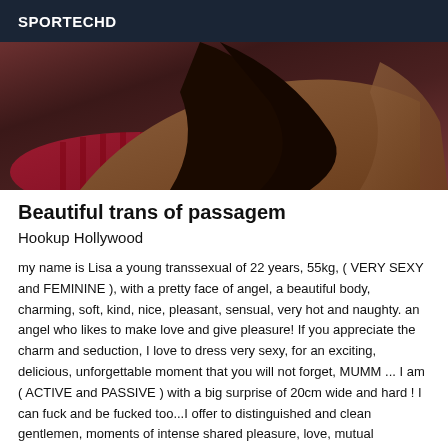SPORTECHD
[Figure (photo): A person lying down on red/maroon cushions, viewed from behind, with dark hair.]
Beautiful trans of passagem
Hookup Hollywood
my name is Lisa a young transsexual of 22 years, 55kg, ( VERY SEXY and FEMININE ), with a pretty face of angel, a beautiful body, charming, soft, kind, nice, pleasant, sensual, very hot and naughty. an angel who likes to make love and give pleasure! If you appreciate the charm and seduction, I love to dress very sexy, for an exciting, delicious, unforgettable moment that you will not forget, MUMM ... I am ( ACTIVE and PASSIVE ) with a big surprise of 20cm wide and hard ! I can fuck and be fucked too...I offer to distinguished and clean gentlemen, moments of intense shared pleasure, love, mutual